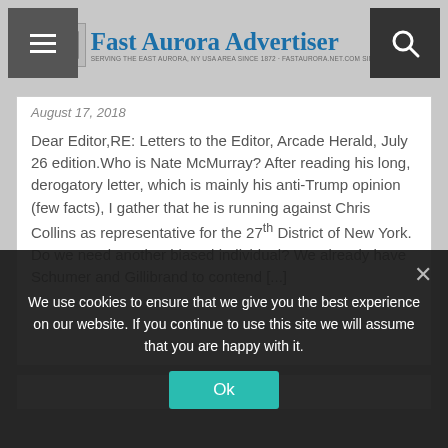Fast Aurora Advertiser — SERVING THE EAST AURORA, NY USA AREA SINCE 1872 · FASTAURORANET.COM SINCE 1999
August 17, 2018
Dear Editor,RE: Letters to the Editor, Arcade Herald, July 26 edition.Who is Nate McMurray? After reading his long, derogatory letter, which is mainly his anti-Trump opinion (few facts), I gather that he is running against Chris Collins as representative for the 27th District of New York. Do we need another biased individual? We already have Schumer and Gillibrand to contend [...]
We use cookies to ensure that we give you the best experience on our website. If you continue to use this site we will assume that you are happy with it.